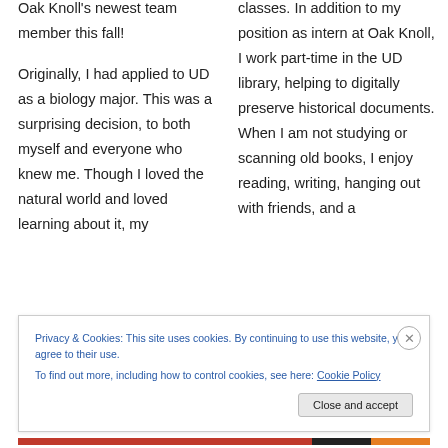Oak Knoll's newest team member this fall!
Originally, I had applied to UD as a biology major. This was a surprising decision, to both myself and everyone who knew me. Though I loved the natural world and loved learning about it, my
classes. In addition to my position as intern at Oak Knoll, I work part-time in the UD library, helping to digitally preserve historical documents. When I am not studying or scanning old books, I enjoy reading, writing, hanging out with friends, and a
Privacy & Cookies: This site uses cookies. By continuing to use this website, you agree to their use.
To find out more, including how to control cookies, see here: Cookie Policy